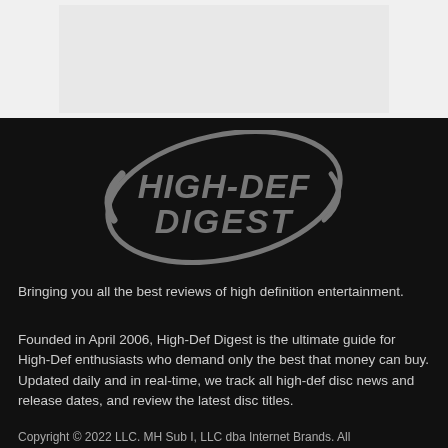[Figure (other): Light gray placeholder image area at top of page]
[Figure (logo): High-Def Digest logo: italic bold text 'HIGH-DEF DIGEST' in gray with an oval swoosh element around it, on dark background]
Bringing you all the best reviews of high definition entertainment.
Founded in April 2006, High-Def Digest is the ultimate guide for High-Def enthusiasts who demand only the best that money can buy. Updated daily and in real-time, we track all high-def disc news and release dates, and review the latest disc titles.
Copyright © 2022 LLC. MH Sub I, LLC dba Internet Brands. All